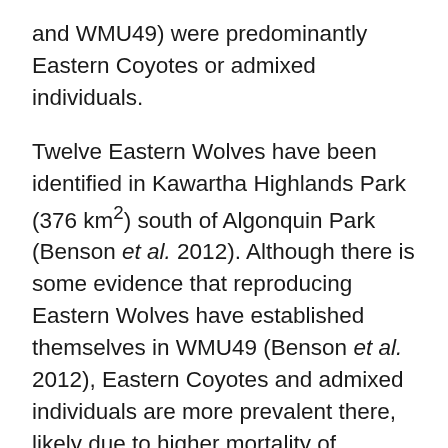and WMU49) were predominantly Eastern Coyotes or admixed individuals.
Twelve Eastern Wolves have been identified in Kawartha Highlands Park (376 km²) south of Algonquin Park (Benson et al. 2012). Although there is some evidence that reproducing Eastern Wolves have established themselves in WMU49 (Benson et al. 2012), Eastern Coyotes and admixed individuals are more prevalent there, likely due to higher mortality of Eastern Wolves outside protected areas (Benson et al. 2012).
Québec